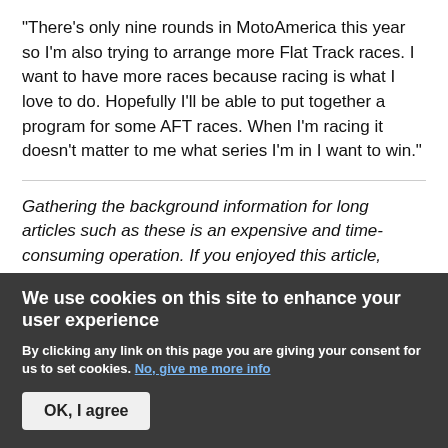“There's only nine rounds in MotoAmerica this year so I'm also trying to arrange more Flat Track races. I want to have more races because racing is what I love to do. Hopefully I'll be able to put together a program for some AFT races. When I'm racing it doesn't matter to me what series I'm in I want to win.”
Gathering the background information for long articles such as these is an expensive and time-consuming operation. If you enjoyed this article, please consider supporting MotoMatters.com for a subscription with...
We use cookies on this site to enhance your user experience
By clicking any link on this page you are giving your consent for us to set cookies. No, give me more info
OK, I agree